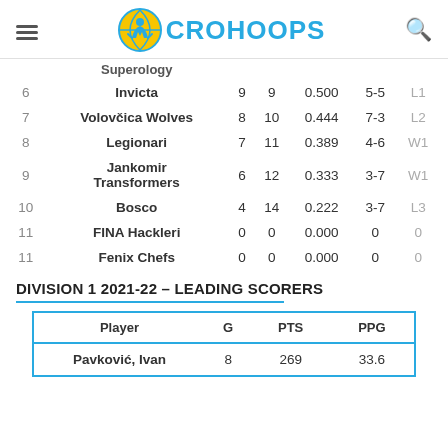CROHOOPS
|  | Team | W | L | PCT | Home | Streak |
| --- | --- | --- | --- | --- | --- | --- |
| 6 | Invicta | 9 | 9 | 0.500 | 5-5 | L1 |
| 7 | Volovčica Wolves | 8 | 10 | 0.444 | 7-3 | L2 |
| 8 | Legionari | 7 | 11 | 0.389 | 4-6 | W1 |
| 9 | Jankomir Transformers | 6 | 12 | 0.333 | 3-7 | W1 |
| 10 | Bosco | 4 | 14 | 0.222 | 3-7 | L3 |
| 11 | FINA Hackleri | 0 | 0 | 0.000 | 0 | 0 |
| 11 | Fenix Chefs | 0 | 0 | 0.000 | 0 | 0 |
DIVISION 1 2021-22 – LEADING SCORERS
| Player | G | PTS | PPG |
| --- | --- | --- | --- |
| Pavković, Ivan | 8 | 269 | 33.6 |